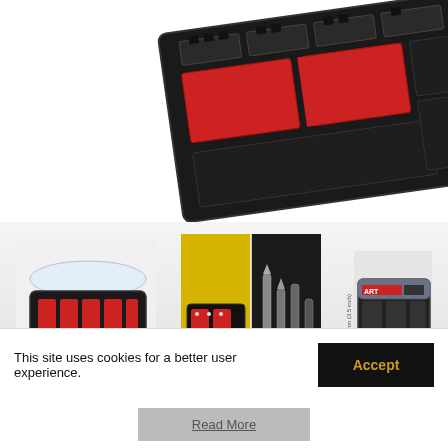[Figure (photo): Close-up top-down view of a black plastic tool organizer/sorter tray with red divider inserts, partially cropped showing the upper-right portion of the tray]
[Figure (photo): Three product images of tool organizer cases side by side: left shows an open black case with red dividers and clear lid; center shows two images of the organizer in use on a yellow surface with tools; right shows a compact black organizer case with red accents and a dimension label '45mm (3.5 inch)']
This site uses cookies for a better user experience.
Accept
Read More